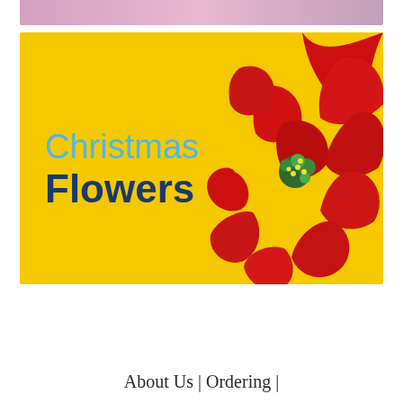[Figure (photo): Top partial view of pink flowers, cropped at the top of the page]
[Figure (illustration): Christmas Flowers banner with yellow background, text 'Christmas Flowers' and a red poinsettia flower on the right side]
About Us | Ordering |